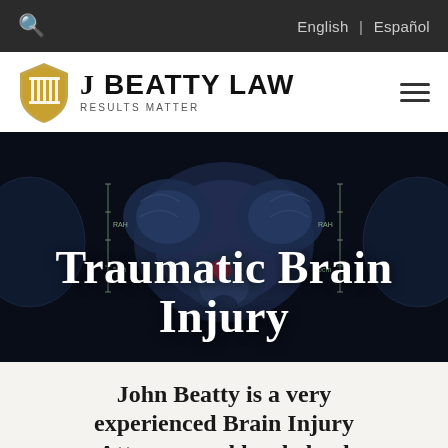🔍  English | Español
[Figure (logo): J Beatty Law shield logo with pillars and tagline RESULTS MATTER]
[Figure (photo): MRI brain scan image used as hero background with overlay text 'Traumatic Brain Injury']
Traumatic Brain Injury
John Beatty is a very experienced Brain Injury Attorney and has helped